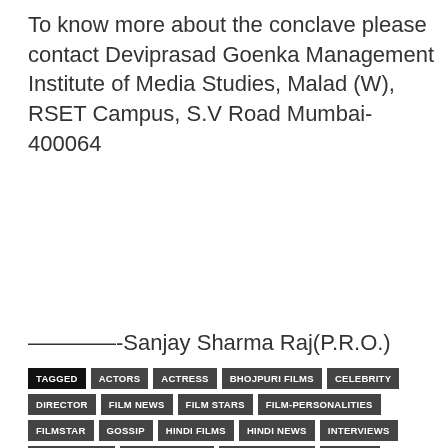To know more about the conclave please contact Deviprasad Goenka Management Institute of Media Studies, Malad (W), RSET Campus, S.V Road Mumbai-400064
————-Sanjay Sharma Raj(P.R.O.)
TAGGED ACTORS ACTRESS BHOJPURI FILMS CELEBRITY DIRECTOR FILM NEWS FILM STARS FILM-PERSONALITIES FILMSTAR GOSSIP HINDI FILMS HINDI NEWS INTERVIEWS LATEST NEWS LATEST VIDEOS LATEST-MOVIES LYRICIST MARATHI-FILMS MARATHI-NEWS MUSIC DIRECTOR NEW COMERS NEW FILMS PHOTOS PICS PRODUCER PROMOS SINGERS TRAILOR VIDEOS